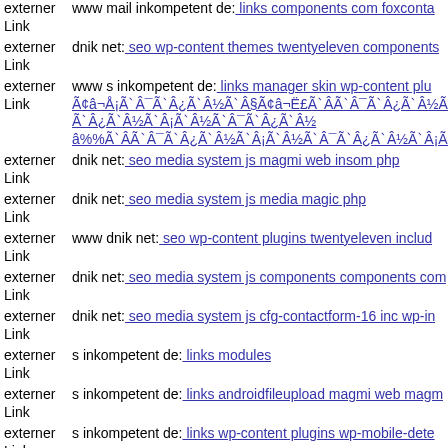externer Link  www mail inkompetent de: links components com foxconta
externer Link  dnik net: seo wp-content themes twentyeleven components
externer Link  www s inkompetent de: links manager skin wp-content plu Ã¢â¬Å¡ÃÂ¯ÃÂ¿ÃÂ½ÃÂ§Ã¢â¬Ë£ÃÂÃ¯Â¿Â½ÃÂ­ÃÂ¿ÃÂ½ÃÂ¡ÃÂ½ÃÂ¯ÃÂ¿ÃÂ½
externer Link  dnik net: seo media system js magmi web insom php
externer Link  dnik net: seo media system js media magic php
externer Link  www dnik net: seo wp-content plugins twentyeleven includ
externer Link  dnik net: seo media system js components components com
externer Link  dnik net: seo media system js cfg-contactform-16 inc wp-in
externer Link  s inkompetent de: links modules
externer Link  s inkompetent de: links androidfileupload magmi web magm
externer Link  s inkompetent de: links wp-content plugins wp-mobile-dete